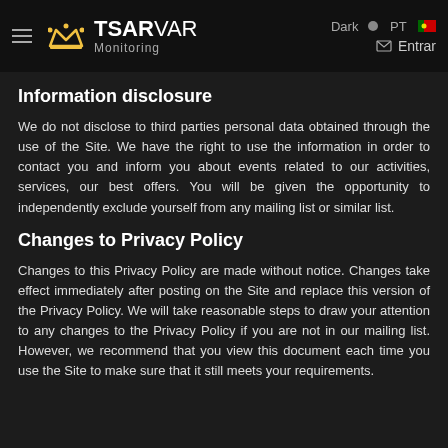TSARVAR Monitoring — Dark PT Entrar
Information disclosure
We do not disclose to third parties personal data obtained through the use of the Site. We have the right to use the information in order to contact you and inform you about events related to our activities, services, our best offers. You will be given the opportunity to independently exclude yourself from any mailing list or similar list.
Changes to Privacy Policy
Changes to this Privacy Policy are made without notice. Changes take effect immediately after posting on the Site and replace this version of the Privacy Policy. We will take reasonable steps to draw your attention to any changes to the Privacy Policy if you are not in our mailing list. However, we recommend that you view this document each time you use the Site to make sure that it still meets your requirements.